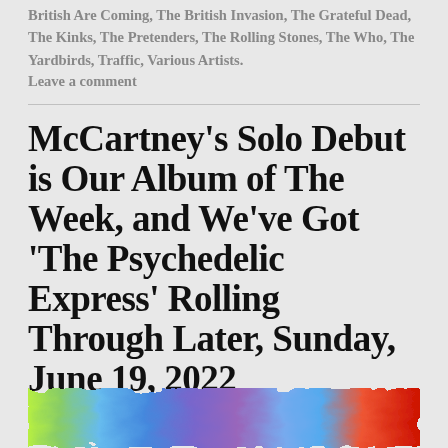British Are Coming, The British Invasion, The Grateful Dead, The Kinks, The Pretenders, The Rolling Stones, The Who, The Yardbirds, Traffic, Various Artists.
Leave a comment
McCartney's Solo Debut is Our Album of The Week, and We've Got 'The Psychedelic Express' Rolling Through Later, Sunday, June 19, 2022
[Figure (photo): Colorful abstract image with blue, green, yellow and red hues]